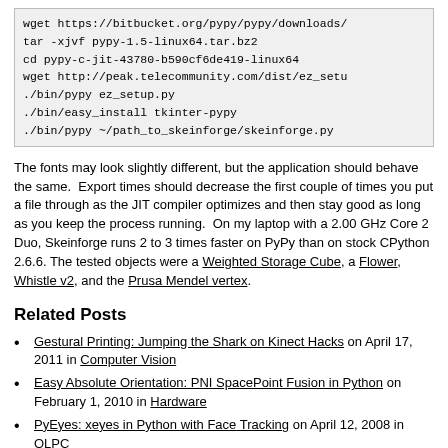[Figure (screenshot): Code block showing terminal commands: wget https://bitbucket.org/pypy/pypy/downloads/, tar -xjvf pypy-1.5-linux64.tar.bz2, cd pypy-c-jit-43780-b590cf6de419-linux64, wget http://peak.telecommunity.com/dist/ez_setu, ./bin/pypy ez_setup.py, ./bin/easy_install tkinter-pypy, ./bin/pypy ~/path_to_skeinforge/skeinforge.py]
The fonts may look slightly different, but the application should behave the same.  Export times should decrease the first couple of times you put a file through as the JIT compiler optimizes and then stay good as long as you keep the process running.  On my laptop with a 2.00 GHz Core 2 Duo, Skeinforge runs 2 to 3 times faster on PyPy than on stock CPython 2.6.6. The tested objects were a Weighted Storage Cube, a Flower, Whistle v2, and the Prusa Mendel vertex.
Related Posts
Gestural Printing: Jumping the Shark on Kinect Hacks on April 17, 2011 in Computer Vision
Easy Absolute Orientation: PNI SpacePoint Fusion in Python on February 1, 2010 in Hardware
PyEyes: xeyes in Python with Face Tracking on April 12, 2008 in OLPC